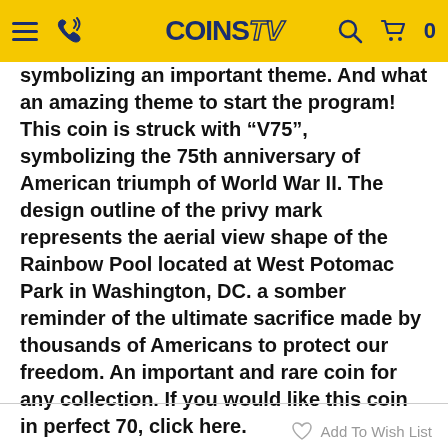COINS TV
symbolizing an important theme.  And what an amazing theme to start the program!  This coin is struck with “V75”, symbolizing the 75th anniversary of American triumph of World War II. The design outline of the privy mark represents the aerial view shape of the Rainbow Pool located at West Potomac Park in Washington, DC. a somber reminder of the ultimate sacrifice made by thousands of Americans to protect our freedom.  An important and rare coin for any collection.  If you would like this coin in perfect 70, click here.
Add To Wish List